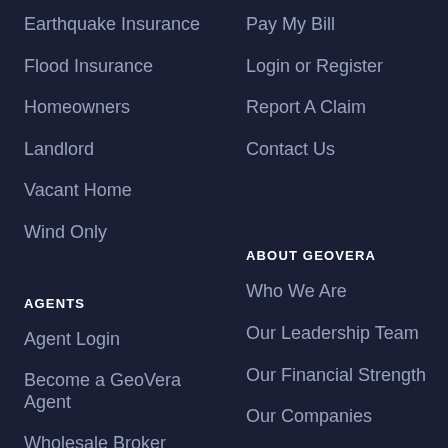Earthquake Insurance
Flood Insurance
Homeowners
Landlord
Vacant Home
Wind Only
AGENTS
Agent Login
Become a GeoVera Agent
Wholesale Broker Partners
Pay My Bill
Login or Register
Report A Claim
Contact Us
ABOUT GEOVERA
Who We Are
Our Leadership Team
Our Financial Strength
Our Companies
Why Choose GeoVera